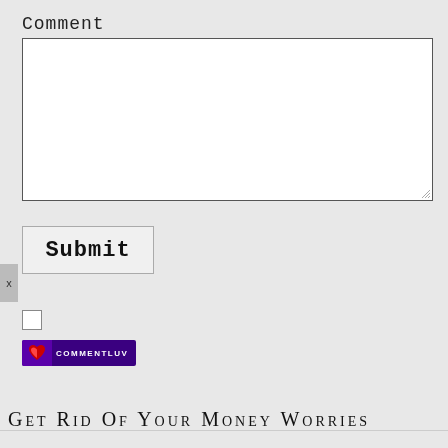Comment
[Figure (screenshot): Empty white textarea input box for comment entry with resize handle in bottom-right corner]
[Figure (screenshot): Submit button with bold monospace text 'Submit']
[Figure (screenshot): Small checkbox (unchecked) followed by CommentLuv badge logo with purple background, heart icon and text 'COMMENTLUV']
Get Rid Of Your Money Worries